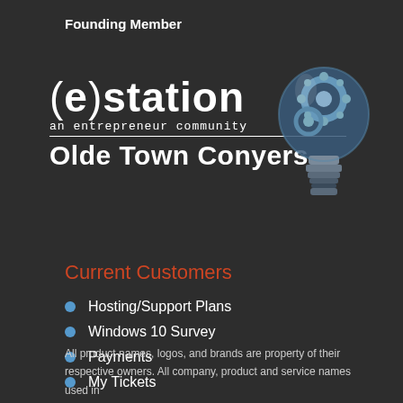Founding Member
[Figure (logo): (e)station an entrepreneur community Olde Town Conyers logo with gear lightbulb illustration]
Current Customers
Hosting/Support Plans
Windows 10 Survey
Payments
My Tickets
All product names, logos, and brands are property of their respective owners. All company, product and service names used in